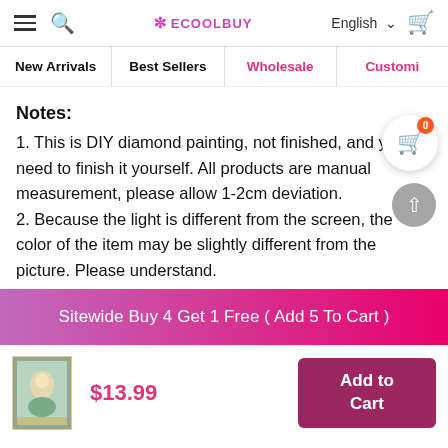ECOOLBUY — English — Navigation bar with hamburger, search, logo, language selector, cart
New Arrivals | Best Sellers | Wholesale | Customi...
Notes:
1. This is DIY diamond painting, not finished, and you need to finish it yourself. All products are manual measurement, please allow 1-2cm deviation.
2. Because the light is different from the screen, the color of the item may be slightly different from the picture. Please understand.
Sitewide Buy 4 Get 1 Free ( Add 5 To Cart )
$13.99
Add to Cart